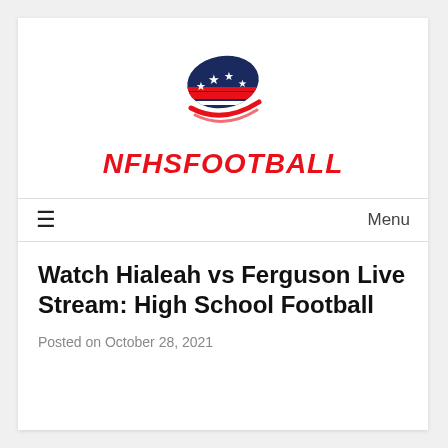[Figure (logo): NFHS Football logo: American football shape with dark navy blue background, white stars, and red/white stripes, with italic bold red text NFHSFOOTBALL below]
Menu
Watch Hialeah vs Ferguson Live Stream: High School Football
Posted on October 28, 2021